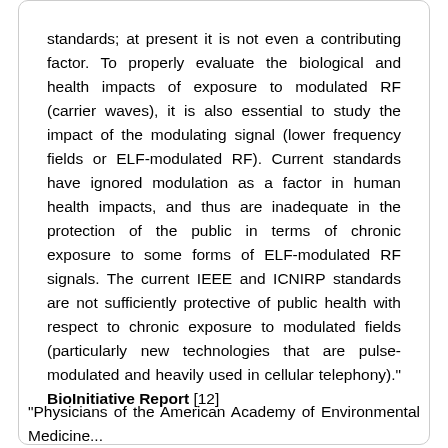standards; at present it is not even a contributing factor. To properly evaluate the biological and health impacts of exposure to modulated RF (carrier waves), it is also essential to study the impact of the modulating signal (lower frequency fields or ELF-modulated RF). Current standards have ignored modulation as a factor in human health impacts, and thus are inadequate in the protection of the public in terms of chronic exposure to some forms of ELF-modulated RF signals. The current IEEE and ICNIRP standards are not sufficiently protective of public health with respect to chronic exposure to modulated fields (particularly new technologies that are pulse-modulated and heavily used in cellular telephony)." BioInitiative Report [12]
"Physicians of the American Academy of Environmental Medicine...